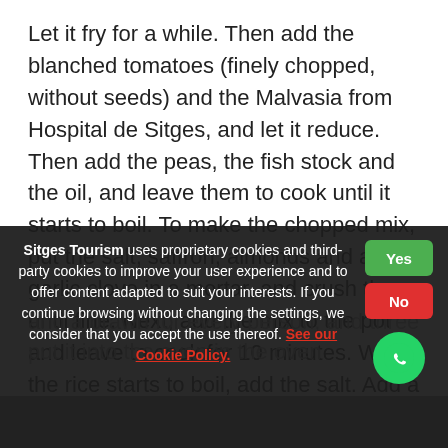Let it fry for a while. Then add the blanched tomatoes (finely chopped, without seeds) and the Malvasia from Hospital de Sitges, and let it reduce. Then add the peas, the fish stock and the oil, and leave them to cook until it starts to boil. To make the chopped mix, put the salt, saffron, almonds and a garlic clove in a mortar, and crush them until fine. Next, add the mix to the pot and leave to cook for 10 minutes. When the rice starts to boil, add the salt. Add a langoustine, a sausage and a prawn for every person, and three clams. Put it into the oven in the oven...
Sitges Tourism uses proprietary cookies and third-party cookies to improve your user experience and to offer content adapted to suit your interests. If you continue browsing without changing the settings, we consider that you accept the use thereof. See our Cookie Policy.